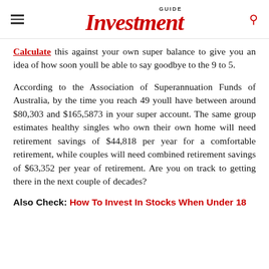GUIDE Investment
Calculate this against your own super balance to give you an idea of how soon youll be able to say goodbye to the 9 to 5.
According to the Association of Superannuation Funds of Australia, by the time you reach 49 youll have between around $80,303 and $165,5873 in your super account. The same group estimates healthy singles who own their own home will need retirement savings of $44,818 per year for a comfortable retirement, while couples will need combined retirement savings of $63,352 per year of retirement. Are you on track to getting there in the next couple of decades?
Also Check: How To Invest In Stocks When Under 18